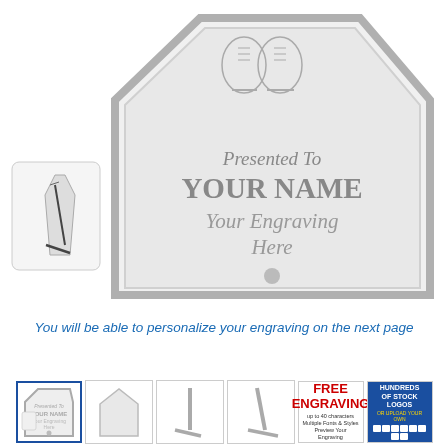[Figure (photo): Acrylic pentagon/hexagon shaped award plaque with ice skates engraving at top, showing 'Presented To YOUR NAME Your Engraving Here' text, with a small side-view thumbnail of the plaque on the left]
You will be able to personalize your engraving on the next page
[Figure (photo): Row of product thumbnails: selected main product view, plain acrylic shape, hockey stick view 1, hockey stick view 2, FREE ENGRAVING badge, HUNDREDS OF STOCK LOGOS badge]